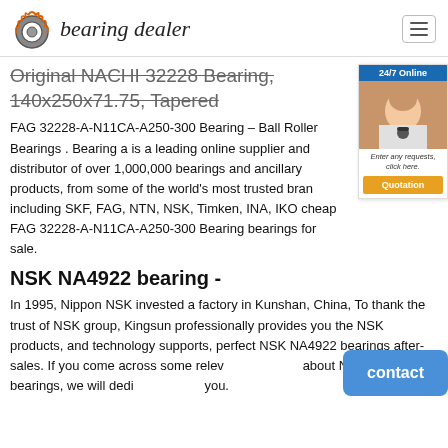bearing dealer
Original NACHI 32228 Bearing, 140x250x71.75, Tapered
FAG 32228-A-N11CA-A250-300 Bearing – Ball Roller Bearings . Bearing a is a leading online supplier and distributor of over 1,000,000 bearings and ancillary products, from some of the world's most trusted brands including SKF, FAG, NTN, NSK, Timken, INA, IKO cheap FAG 32228-A-N11CA-A250-300 Bearing bearings for sale.
[Figure (photo): 24/7 Online chat widget with customer service representative photo and Quotation button]
NSK NA4922 bearing -
In 1995, Nippon NSK invested a factory in Kunshan, China, To thank the trust of NSK group, Kingsun professionally provides you the NSK products, and technology supports, perfect NSK NA4922 bearings after-sales. If you come across some relevant problems about NSK NA4922 bearings, we will dedicate to help you.
[Figure (other): Contact button overlay]